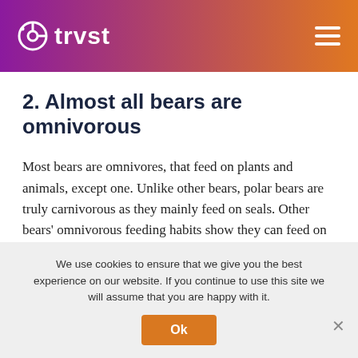trvst
2. Almost all bears are omnivorous
Most bears are omnivores, that feed on plants and animals, except one. Unlike other bears, polar bears are truly carnivorous as they mainly feed on seals. Other bears' omnivorous feeding habits show they can feed on plants, berries, and other animals.
We use cookies to ensure that we give you the best experience on our website. If you continue to use this site we will assume that you are happy with it.